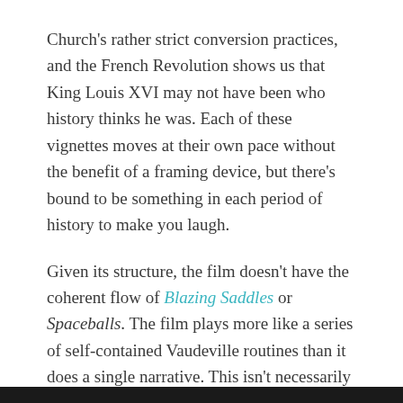Church's rather strict conversion practices, and the French Revolution shows us that King Louis XVI may not have been who history thinks he was. Each of these vignettes moves at their own pace without the benefit of a framing device, but there's bound to be something in each period of history to make you laugh.
Given its structure, the film doesn't have the coherent flow of Blazing Saddles or Spaceballs. The film plays more like a series of self-contained Vaudeville routines than it does a single narrative. This isn't necessarily a bad thing, however, as if you find yourself disliking a particular section of the movie, you just need to wait for the next section to begin. The exception to this, of course, is the French Revolution section at the end… or is it? Let me just skirt around that spoiler and get back to the movie.